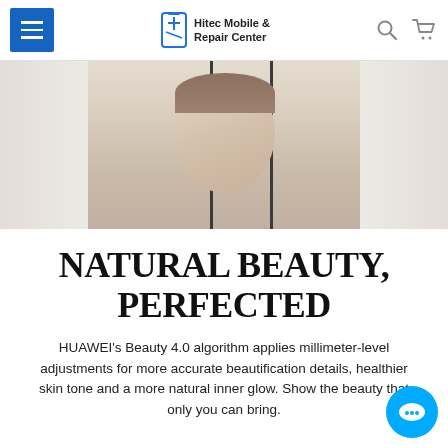Hitec Mobile & Repair Center
[Figure (photo): A woman looking forward, photographed through a phone-like frame with panels on either side, suggesting a Huawei beauty camera feature]
NATURAL BEAUTY, PERFECTED
HUAWEI's Beauty 4.0 algorithm applies millimeter-level adjustments for more accurate beautification details, healthier skin tone and a more natural inner glow. Show the beauty that only you can bring.